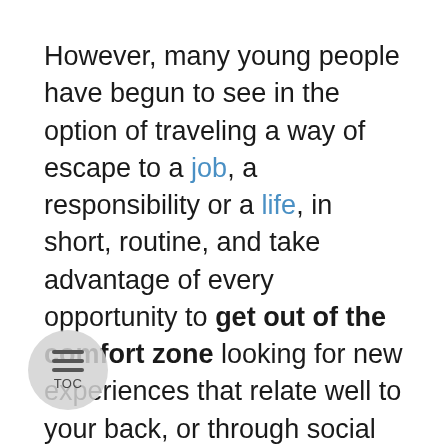However, many young people have begun to see in the option of traveling a way of escape to a job, a responsibility or a life, in short, routine, and take advantage of every opportunity to get out of the comfort zone looking for new experiences that relate well to your back, or through social networks. The meaning of wanderlust lies in the desires of traveler who loves travelling.
Thanks in part to the fact that, today, the flights 'cost', the promotions, projects such as the 'interrail' or european policies that have favored the transit cheap and, of course, the internet, have made travel much more accessible to pockets of